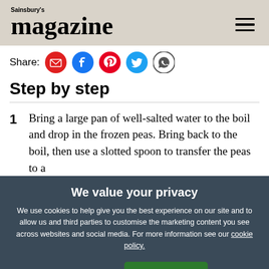Sainsbury's magazine
Share:
Step by step
1  Bring a large pan of well-salted water to the boil and drop in the frozen peas. Bring back to the boil, then use a slotted spoon to transfer the peas to a
We value your privacy
We use cookies to help give you the best experience on our site and to allow us and third parties to customise the marketing content you see across websites and social media. For more information see our cookie policy.
Manage Preferences
Accept All Cookies